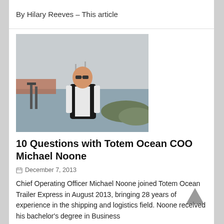By Hilary Reeves – This article
[Figure (photo): Man in black vest standing outdoors near a waterway/harbor with overcast sky]
10 Questions with Totem Ocean COO Michael Noone
December 7, 2013
Chief Operating Officer Michael Noone joined Totem Ocean Trailer Express in August 2013, bringing 28 years of experience in the shipping and logistics field. Noone received his bachelor's degree in Business